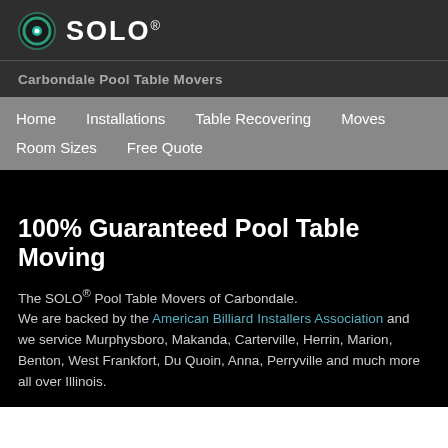SOLO® Carbondale Pool Table Movers
Home   Installations   Table Recovering   Moves   Room Sizes   Free Quote
100% Guaranteed Pool Table Moving
The SOLO® Pool Table Movers of Carbondale. We are backed by the American Billiard Installers Association and we service Murphysboro, Makanda, Carterville, Herrin, Marion, Benton, West Frankfort, Du Quoin, Anna, Perryville and much more all over Illinois.